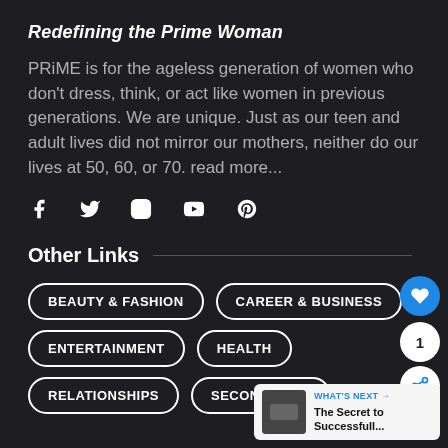Redefining the Prime Woman
PRiME is for the ageless generation of women who don't dress, think, or act like women in previous generations. We are unique. Just as our teen and adult lives did not mirror our mothers, neither do our lives at 50, 60, or 70. read more...
[Figure (infographic): Social media icons: Facebook, Twitter, Instagram, YouTube, Pinterest]
Other Links
BEAUTY & FASHION
CAREER & BUSINESS
ENTERTAINMENT
HEALTH
RELATIONSHIPS
SECOND ACTS